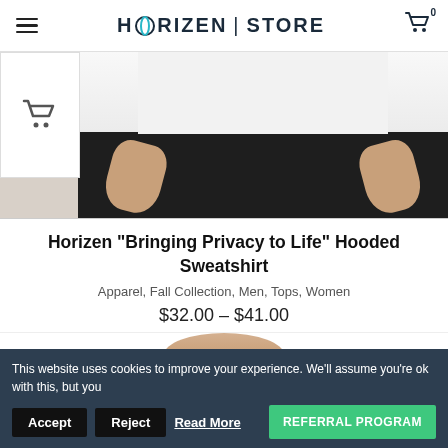HORIZEN | STORE
[Figure (photo): Partial view of a person wearing a white hooded sweatshirt with black pants, showing torso and hands]
Horizen “Bringing Privacy to Life” Hooded Sweatshirt
Apparel, Fall Collection, Men, Tops, Women
$32.00 – $41.00
[Figure (photo): Partial view of a person's face/neck, second product thumbnail]
This website uses cookies to improve your experience. We’ll assume you’re ok with this, but you
Accept   Reject   Read More   REFERRAL PROGRAM